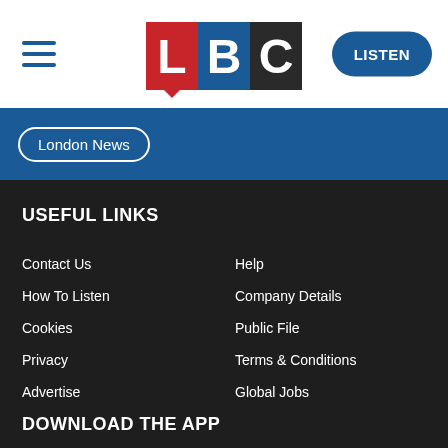LBC — LISTEN
London News
USEFUL LINKS
Contact Us
Help
How To Listen
Company Details
Cookies
Public File
Privacy
Terms & Conditions
Advertise
Global Jobs
DOWNLOAD THE APP